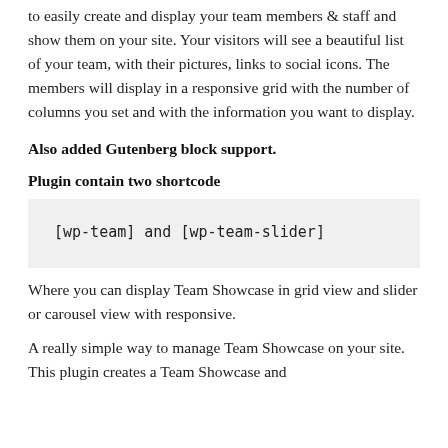to easily create and display your team members & staff and show them on your site. Your visitors will see a beautiful list of your team, with their pictures, links to social icons. The members will display in a responsive grid with the number of columns you set and with the information you want to display.
Also added Gutenberg block support.
Plugin contain two shortcode
[wp-team] and [wp-team-slider]
Where you can display Team Showcase in grid view and slider or carousel view with responsive.
A really simple way to manage Team Showcase on your site. This plugin creates a Team Showcase and